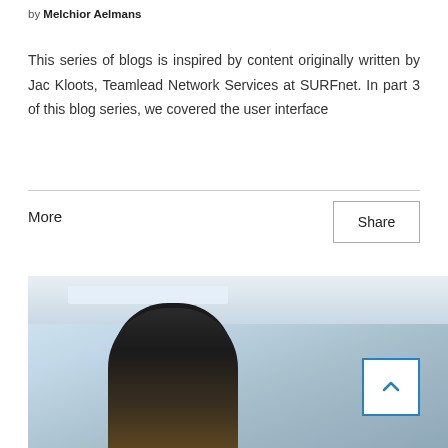by Melchior Aelmans
This series of blogs is inspired by content originally written by Jac Kloots, Teamlead Network Services at SURFnet. In part 3 of this blog series, we covered the user interface
More
Share
[Figure (photo): Photo of a person with dark hair, appears to be a student working at a desk in a library or office setting with ceiling lights visible in the background.]